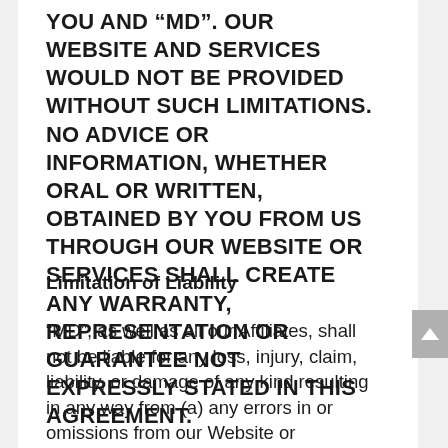YOU AND “MD”. OUR WEBSITE AND SERVICES WOULD NOT BE PROVIDED WITHOUT SUCH LIMITATIONS. NO ADVICE OR INFORMATION, WHETHER ORAL OR WRITTEN, OBTAINED BY YOU FROM US THROUGH OUR WEBSITE OR SERVICES SHALL CREATE ANY WARRANTY, REPRESENTATION OR GUARANTEE NOT EXPRESSLY STATED IN THIS AGREEMENT.
Limitation of Liability
“MD”, as well as all our Affiliates, shall not be liable for any loss, injury, claim, liability, or damage of any kind resulting in any way from (a) any errors in or omissions from our Website or Services, (b) any errors...